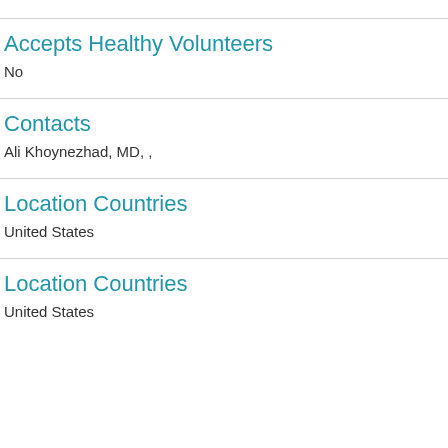Accepts Healthy Volunteers
No
Contacts
Ali Khoynezhad, MD, ,
Location Countries
United States
Location Countries
United States